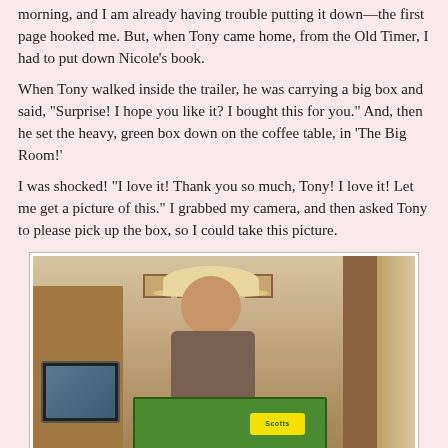morning, and I am already having trouble putting it down—the first page hooked me. But, when Tony came home, from the Old Timer, I had to put down Nicole's book.
When Tony walked inside the trailer, he was carrying a big box and said, "Surprise! I hope you like it? I bought this for you." And, then he set the heavy, green box down on the coffee table, in 'The Big Room!'
I was shocked! "I love it! Thank you so much, Tony! I love it! Let me get a picture of this." I grabbed my camera, and then asked Tony to please pick up the box, so I could take this picture.
[Figure (photo): A man wearing a cowboy hat standing inside a home, holding a large green Scotts box. Behind him are bookshelves filled with DVDs/books, a TV on the left, and wall decorations. The room has warm wood tones.]